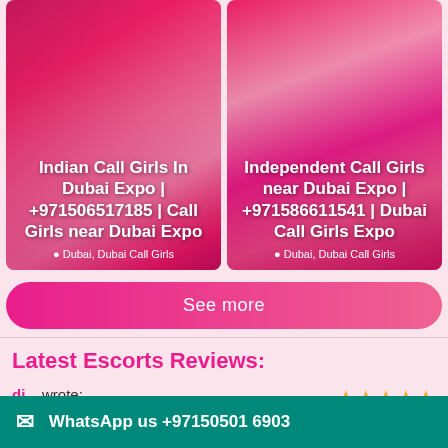[Figure (photo): Two side-by-side listing cards with pink background photos of women. Left card: Indian Call Girls In Dubai Expo | +971506517185 | Call Girls near Dubai Expo, location: Dubai, Dubai Call Girls. Right card: Independent Call Girls near Dubai Expo | +971586611541 | Dubai Call Girls Expo, location: Dubai, Dubai Call Girls.]
See more
Latest Escorts Reviews:
di... wrote:
★★★★★
we have Sex Dubai.our site here we are with the current gathering
WhatsApp us +97150501 6903